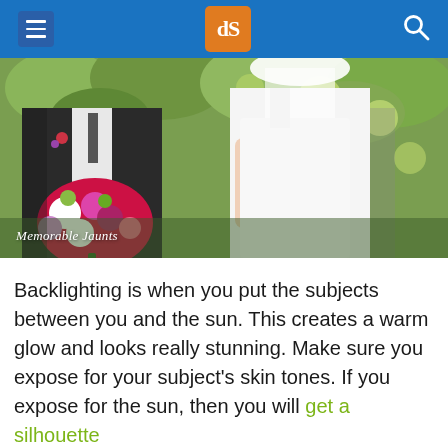dPS navigation header with hamburger menu, dPS logo, and search icon
[Figure (photo): Wedding photo showing a groom in dark suit holding a colorful bouquet and a bride in white dress with veil, outdoors with green foliage background. Watermark reads 'Memorable Jaunts'.]
Backlighting is when you put the subjects between you and the sun. This creates a warm glow and looks really stunning. Make sure you expose for your subject's skin tones. If you expose for the sun, then you will get a silhouette effect, which is nice, but then you lose the detail.